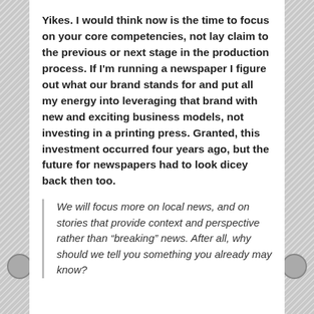Yikes. I would think now is the time to focus on your core competencies, not lay claim to the previous or next stage in the production process. If I'm running a newspaper I figure out what our brand stands for and put all my energy into leveraging that brand with new and exciting business models, not investing in a printing press. Granted, this investment occurred four years ago, but the future for newspapers had to look dicey back then too.
We will focus more on local news, and on stories that provide context and perspective rather than “breaking” news. After all, why should we tell you something you already may know?